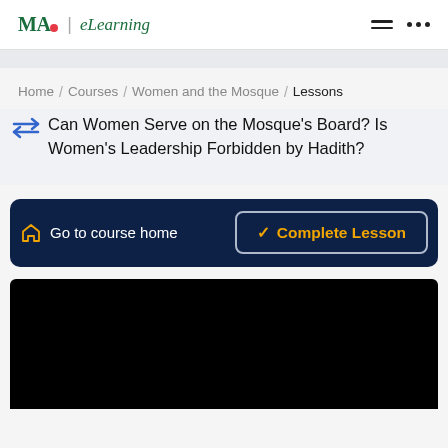MAC eLearning
Home / Courses / Women and the Mosque / Lessons
Can Women Serve on the Mosque's Board? Is Women's Leadership Forbidden by Hadith?
Go to course home
Complete Lesson
[Figure (screenshot): Black video player area]